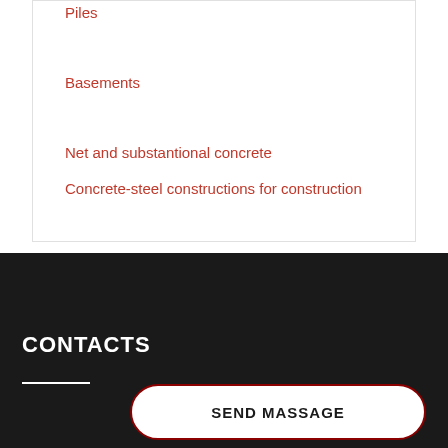Piles
Basements
Net and substantional concrete
Concrete-steel constructions for construction
CONTACTS
SEND MASSAGE